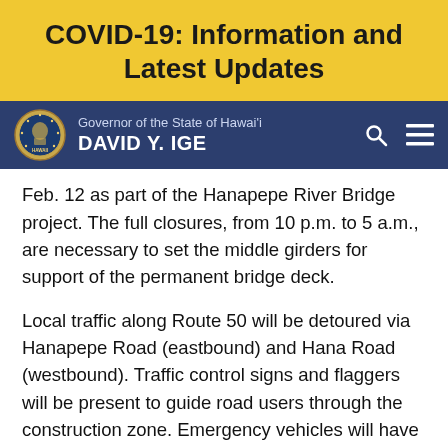COVID-19: Information and Latest Updates
Governor of the State of Hawai'i DAVID Y. IGE
Feb. 12 as part of the Hanapepe River Bridge project. The full closures, from 10 p.m. to 5 a.m., are necessary to set the middle girders for support of the permanent bridge deck.
Local traffic along Route 50 will be detoured via Hanapepe Road (eastbound) and Hana Road (westbound). Traffic control signs and flaggers will be present to guide road users through the construction zone. Emergency vehicles will have full access to cross the bridge if needed during the closures. A flagger will also be posted on each side